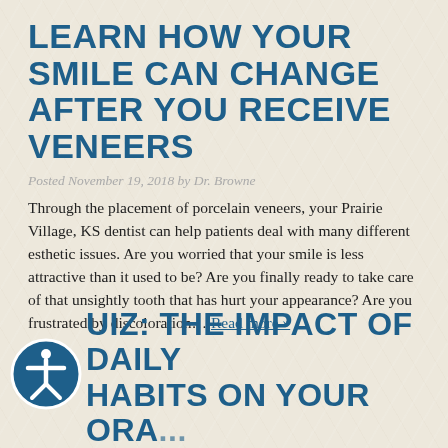LEARN HOW YOUR SMILE CAN CHANGE AFTER YOU RECEIVE VENEERS
Posted November 19, 2018 by Dr. Browne
Through the placement of porcelain veneers, your Prairie Village, KS dentist can help patients deal with many different esthetic issues. Are you worried that your smile is less attractive than it used to be? Are you finally ready to take care of that unsightly tooth that has hurt your appearance? Are you frustrated by discoloration… Read more »
QUIZ: THE IMPACT OF DAILY HABITS ON YOUR ORA...